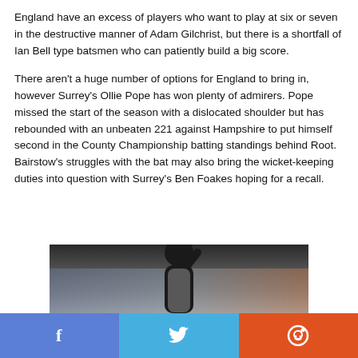England have an excess of players who want to play at six or seven in the destructive manner of Adam Gilchrist, but there is a shortfall of Ian Bell type batsmen who can patiently build a big score.
There aren't a huge number of options for England to bring in, however Surrey's Ollie Pope has won plenty of admirers. Pope missed the start of the season with a dislocated shoulder but has rebounded with an unbeaten 221 against Hampshire to put himself second in the County Championship batting standings behind Root. Bairstow's struggles with the bat may also bring the wicket-keeping duties into question with Surrey's Ben Foakes hoping for a recall.
[Figure (photo): Partially visible photograph of a cricketer with arm raised, crowd visible in background]